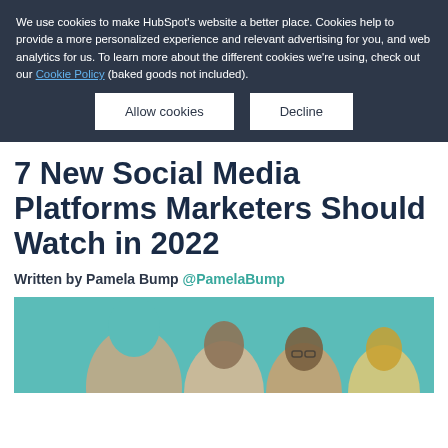We use cookies to make HubSpot's website a better place. Cookies help to provide a more personalized experience and relevant advertising for you, and web analytics for us. To learn more about the different cookies we're using, check out our Cookie Policy (baked goods not included).
Allow cookies | Decline
7 New Social Media Platforms Marketers Should Watch in 2022
Written by Pamela Bump @PamelaBump
[Figure (photo): Group of people against a teal/green background, partially visible at bottom of page]